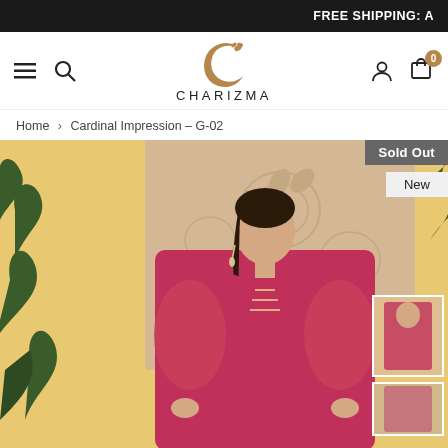FREE SHIPPING: A
[Figure (logo): Charizma brand logo - golden crescent C with leaf motif above text CHARIZMA]
Home > Cardinal Impression – G-02
[Figure (photo): Fashion product photo of a woman wearing a pink/magenta embroidered Pakistani lawn suit with sheer sleeves, standing in front of a decorative carved wooden panel on yellow background. Badges: Sold Out, New. Two small thumbnail images visible on the right side.]